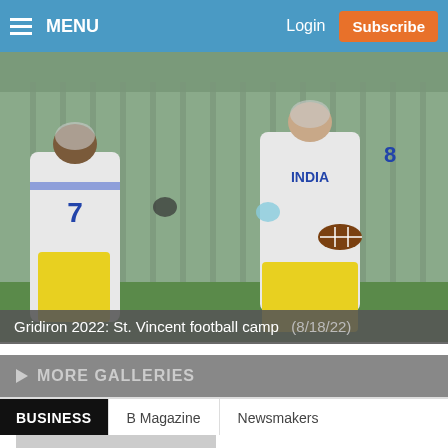MENU   Login   Subscribe
[Figure (photo): Two football players in white and yellow uniforms, one defending and one running with the ball at St. Vincent football camp]
Gridiron 2022: St. Vincent football camp (8/18/22)
▶ MORE GALLERIES
BUSINESS   B Magazine   Newsmakers
[Figure (photo): Partial photo of people standing in front of a sign, bottom of page]